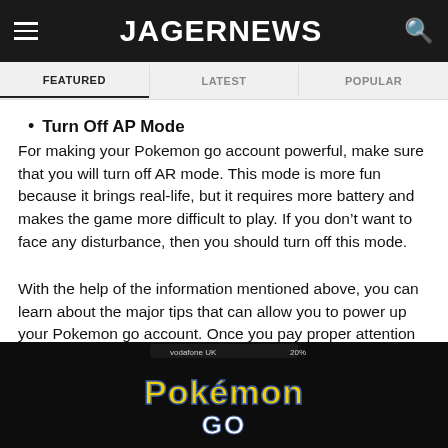JAGERNEWS
FEATURED | LATEST | POPULAR
Turn Off AP Mode
For making your Pokemon go account powerful, make sure that you will turn off AR mode. This mode is more fun because it brings real-life, but it requires more battery and makes the game more difficult to play. If you don't want to face any disturbance, then you should turn off this mode.
With the help of the information mentioned above, you can learn about the major tips that can allow you to power up your Pokemon go account. Once you pay proper attention to the major tips, it will be very beneficial for you and help you power up your account easily.
[Figure (screenshot): Pokemon GO app screenshot showing the Pokemon GO logo on a dark background]